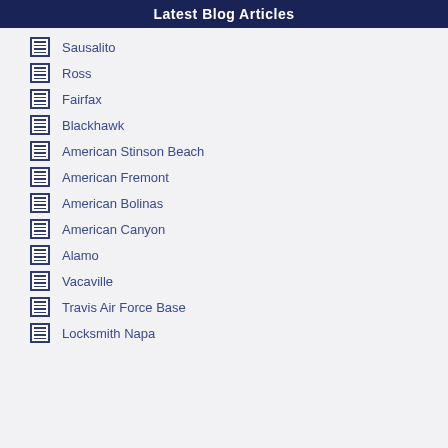Latest Blog Articles
Sausalito
Ross
Fairfax
Blackhawk
American Stinson Beach
American Fremont
American Bolinas
American Canyon
Alamo
Vacaville
Travis Air Force Base
Locksmith Napa